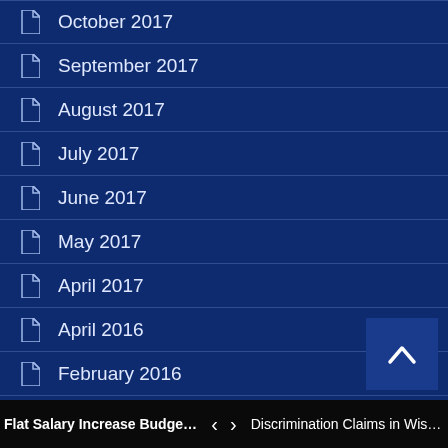October 2017
September 2017
August 2017
July 2017
June 2017
May 2017
April 2017
April 2016
February 2016
January 2016
November 2015
October 2015
Flat Salary Increase Budgets Cre... < > Discrimination Claims in Wiscons...